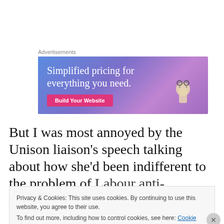Advertisements
[Figure (screenshot): Advertisement banner with blue-purple gradient background showing text 'Simplified pricing for everything you need.' with a pink 'Build Your Website' button and a hand holding glasses on the right side.]
But I was most annoyed by the Unison liaison’s speech talking about how she’d been indifferent to the problem of Labour anti-Semitism, but had just attended a ‘powerful’
Privacy & Cookies: This site uses cookies. By continuing to use this website, you agree to their use.
To find out more, including how to control cookies, see here: Cookie Policy
Close and accept